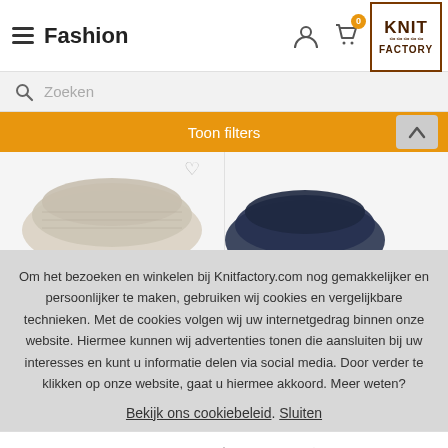Fashion
Zoeken
Toon filters
[Figure (photo): Two knitted winter scarves/products shown side by side - left one is beige/cream colored, right one is dark navy blue]
Om het bezoeken en winkelen bij Knitfactory.com nog gemakkelijker en persoonlijker te maken, gebruiken wij cookies en vergelijkbare technieken. Met de cookies volgen wij uw internetgedrag binnen onze website. Hiermee kunnen wij advertenties tonen die aansluiten bij uw interesses en kunt u informatie delen via social media. Door verder te klikken op onze website, gaat u hiermee akkoord. Meer weten?
Bekijk ons cookiebeleid. Sluiten
Home  Producten  Stijlen  Ruimtes  Winkels